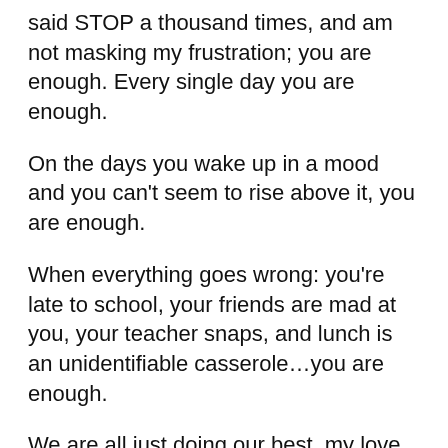said STOP a thousand times, and am not masking my frustration; you are enough. Every single day you are enough.
On the days you wake up in a mood and you can't seem to rise above it, you are enough.
When everything goes wrong: you're late to school, your friends are mad at you, your teacher snaps, and lunch is an unidentifiable casserole…you are enough.
We are all just doing our best, my love. We all make mistakes, we all fail, we all disappoint ourselves and others.